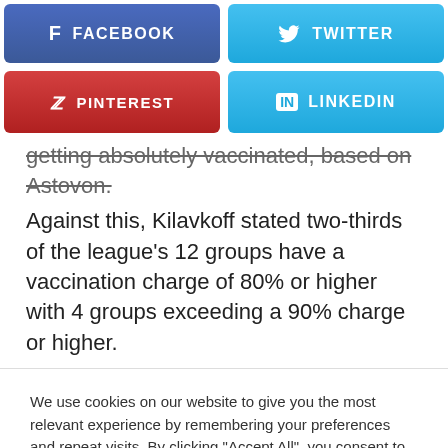[Figure (screenshot): Social share buttons: Facebook (blue-purple), Twitter (light blue), Pinterest (red), LinkedIn (light blue)]
getting absolutely vaccinated, based on Astovon.
Against this, Kilavkoff stated two-thirds of the league's 12 groups have a vaccination charge of 80% or higher with 4 groups exceeding a 90% charge or higher.
We use cookies on our website to give you the most relevant experience by remembering your preferences and repeat visits. By clicking "Accept All", you consent to the use of ALL the cookies. However, you may visit "Cookie Settings" to provide a controlled consent.
Cookie Settings
Accept All